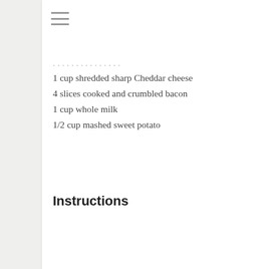1 cup shredded sharp Cheddar cheese
4 slices cooked and crumbled bacon
1 cup whole milk
1/2 cup mashed sweet potato
Instructions
Preheat your oven to 450F degrees. Line a large baking sheet with parchment paper.
In a large bowl, whisk together flour, baking powder, brown sugar, salt, cream of tartar and cayenne pepper. Using a pastry blender, cut in butter until mixture